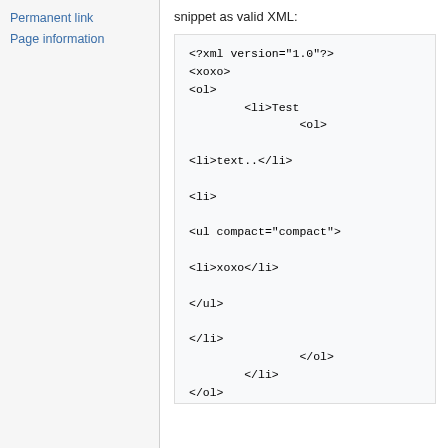Permanent link
Page information
snippet as valid XML:
<?xml version="1.0"?>
<xoxo>
<ol>
        <li>Test
                <ol>

<li>text..</li>

<li>

<ul compact="compact">

<li>xoxo</li>

</ul>

</li>
        </ol>
        </li>
</ol>
<ul>
        <li>Test